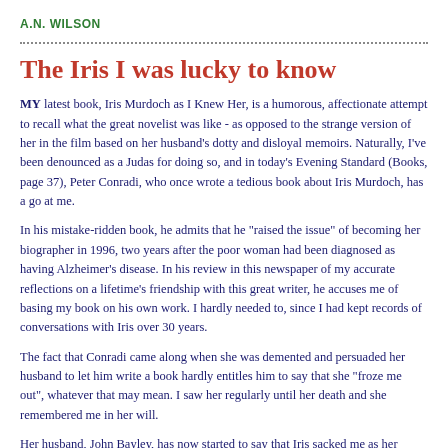A.N. WILSON
The Iris I was lucky to know
MY latest book, Iris Murdoch as I Knew Her, is a humorous, affectionate attempt to recall what the great novelist was like - as opposed to the strange version of her in the film based on her husband's dotty and disloyal memoirs. Naturally, I've been denounced as a Judas for doing so, and in today's Evening Standard (Books, page 37), Peter Conradi, who once wrote a tedious book about Iris Murdoch, has a go at me.
In his mistake-ridden book, he admits that he "raised the issue" of becoming her biographer in 1996, two years after the poor woman had been diagnosed as having Alzheimer's disease. In his review in this newspaper of my accurate reflections on a lifetime's friendship with this great writer, he accuses me of basing my book on his own work. I hardly needed to, since I had kept records of conversations with Iris over 30 years.
The fact that Conradi came along when she was demented and persuaded her husband to let him write a book hardly entitles him to say that she "froze me out", whatever that may mean. I saw her regularly until her death and she remembered me in her will.
Her husband, John Bayley, has now started to say that Iris sacked me as her biographer but this is not true. She made me her official biographer. Until